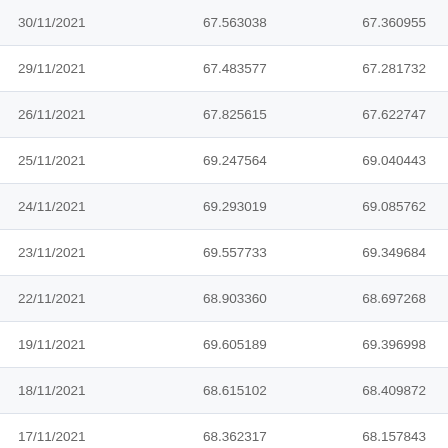| 30/11/2021 | 67.563038 | 67.360955 |
| 29/11/2021 | 67.483577 | 67.281732 |
| 26/11/2021 | 67.825615 | 67.622747 |
| 25/11/2021 | 69.247564 | 69.040443 |
| 24/11/2021 | 69.293019 | 69.085762 |
| 23/11/2021 | 69.557733 | 69.349684 |
| 22/11/2021 | 68.903360 | 68.697268 |
| 19/11/2021 | 69.605189 | 69.396998 |
| 18/11/2021 | 68.615102 | 68.409872 |
| 17/11/2021 | 68.362317 | 68.157843 |